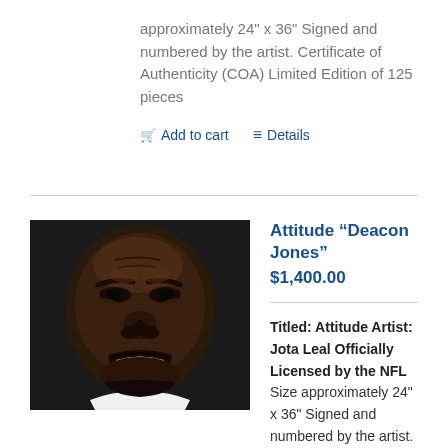approximately 24" x 36" Signed and numbered by the artist. Certificate of Authenticity (COA) Limited Edition of 125 pieces
Add to cart  Details
[Figure (photo): Close-up portrait of Deacon Jones with an intense expression]
Attitude “Deacon Jones”
$1,400.00
Titled: Attitude Artist: Jota Leal Officially Licensed by the NFL Size approximately 24" x 36" Signed and numbered by the artist. Certificate of Authenticity (COA) Limited Edition of 125 pieces